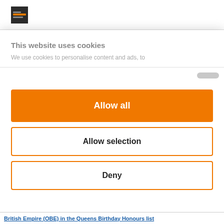[Figure (logo): Small dark square logo icon resembling a website favicon]
This website uses cookies
We use cookies to personalise content and ads, to
Allow all
Allow selection
Deny
Powered by Cookiebot by Usercentrics
British Empire (OBE) in the Queens Birthday Honours list